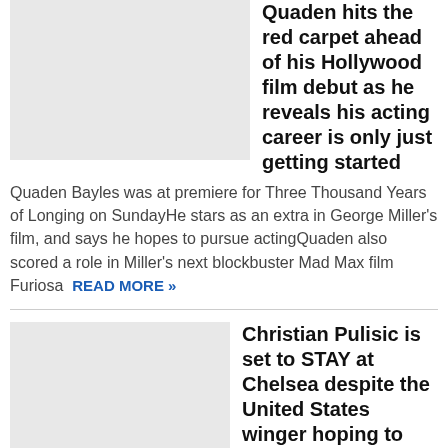[Figure (photo): Thumbnail image placeholder (light gray box) for Quaden Bayles article]
Quaden hits the red carpet ahead of his Hollywood film debut as he reveals his acting career is only just getting started
Quaden Bayles was at premiere for Three Thousand Years of Longing on SundayHe stars as an extra in George Miller's film, and says he hopes to pursue actingQuaden also scored a role in Miller's next blockbuster Mad Max film Furiosa READ MORE »
[Figure (photo): Thumbnail image placeholder (light gray box) for Christian Pulisic article]
Christian Pulisic is set to STAY at Chelsea despite the United States winger hoping to leave on loan for